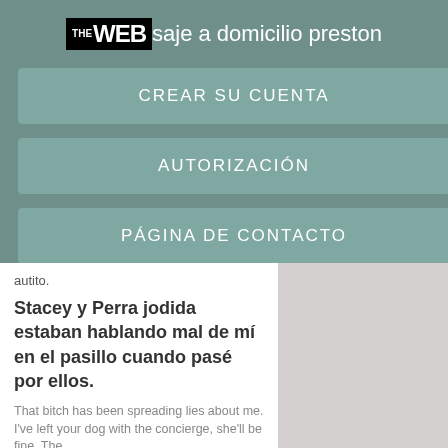THE WEB saje a domicilio preston
CREAR SU CUENTA
AUTORIZACIÓN
PÁGINA DE CONTACTO
autito.
Stacey y Perra jodida estaban hablando mal de mí en el pasillo cuando pasé por ellos.
That bitch has been spreading lies about me. I've left your dog with the concierge, she'll be fine. The